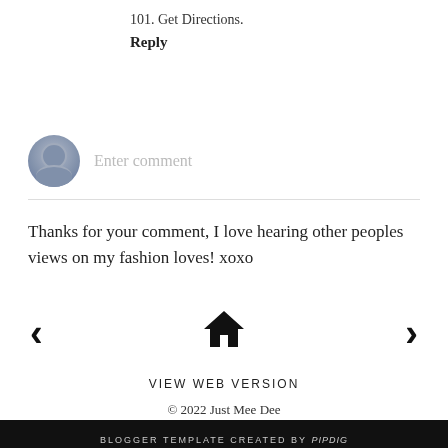101. Get Directions.
Reply
[Figure (other): Comment input area with user avatar and placeholder text 'Enter comment']
Thanks for your comment, I love hearing other peoples views on my fashion loves! xoxo
[Figure (other): Navigation icons: left arrow, home icon, right arrow]
VIEW WEB VERSION
© 2022 Just Mee Dee
BLOGGER TEMPLATE CREATED BY pipdig